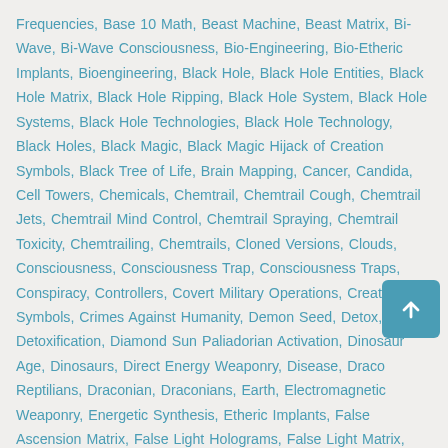Frequencies, Base 10 Math, Beast Machine, Beast Matrix, Bi-Wave, Bi-Wave Consciousness, Bio-Engineering, Bio-Etheric Implants, Bioengineering, Black Hole, Black Hole Entities, Black Hole Matrix, Black Hole Ripping, Black Hole System, Black Hole Systems, Black Hole Technologies, Black Hole Technology, Black Holes, Black Magic, Black Magic Hijack of Creation Symbols, Black Tree of Life, Brain Mapping, Cancer, Candida, Cell Towers, Chemicals, Chemtrail, Chemtrail Cough, Chemtrail Jets, Chemtrail Mind Control, Chemtrail Spraying, Chemtrail Toxicity, Chemtrailing, Chemtrails, Cloned Versions, Clouds, Consciousness, Consciousness Trap, Consciousness Traps, Conspiracy, Controllers, Covert Military Operations, Creation Symbols, Crimes Against Humanity, Demon Seed, Detox, Detoxification, Diamond Sun Paliadorian Activation, Dinosaur Age, Dinosaurs, Direct Energy Weaponry, Disease, Draco Reptilians, Draconian, Draconians, Earth, Electromagnetic Weaponry, Energetic Synthesis, Etheric Implants, False Ascension Matrix, False Light Holograms, False Light Matrix, False Tree of Life
[Figure (other): Scroll-to-top button: a teal/blue rounded square button with an upward-pointing arrow icon]